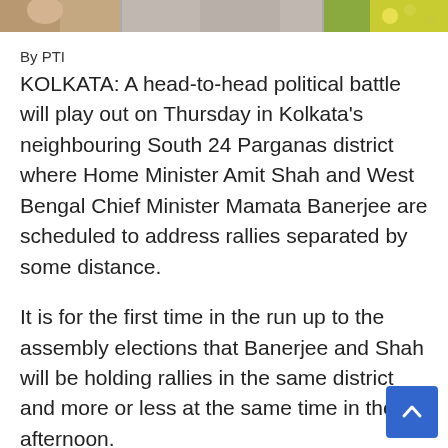[Figure (photo): Decorative photo strip at top of article showing partial images of people and nature]
By PTI
KOLKATA: A head-to-head political battle will play out on Thursday in Kolkata's neighbouring South 24 Parganas district where Home Minister Amit Shah and West Bengal Chief Minister Mamata Banerjee are scheduled to address rallies separated by some distance.

It is for the first time in the run up to the assembly elections that Banerjee and Shah will be holding rallies in the same district and more or less at the same time in the afternoon.

Shah is scheduled to arrive in Bengal tonight on a two-day visit starting from Thursday.